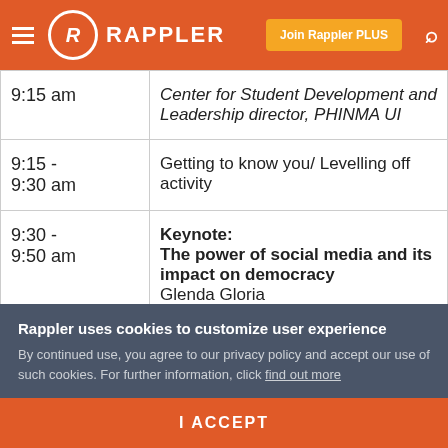RAPPLER | Join Rappler PLUS
| Time | Description |
| --- | --- |
| 9:15 am | Center for Student Development and Leadership director, PHINMA UI |
| 9:15 - 9:30 am | Getting to know you/ Levelling off activity |
| 9:30 - 9:50 am | Keynote: The power of social media and its impact on democracy — Glenda Gloria |
Rappler uses cookies to customize user experience
By continued use, you agree to our privacy policy and accept our use of such cookies. For further information, click find out more
I ACCEPT